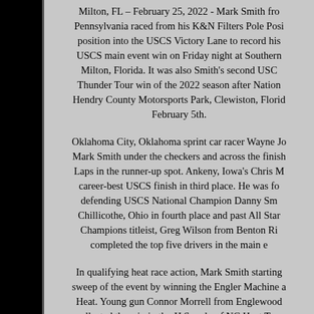Milton, FL – February 25, 2022 - Mark Smith from Pennsylvania raced from his K&N Filters Pole Position into the USCS Victory Lane to record his USCS main event win on Friday night at Southern Milton, Florida. It was also Smith's second USCS Thunder Tour win of the 2022 season after National Hendry County Motorsports Park, Clewiston, Florida February 5th.
Oklahoma City, Oklahoma sprint car racer Wayne Jo Mark Smith under the checkers and across the finish Laps in the runner-up spot. Ankeny, Iowa's Chris M career-best USCS finish in third place. He was fo defending USCS National Champion Danny Sm Chillicothe, Ohio in fourth place and past All Star Champions titleist, Greg Wilson from Benton Ri completed the top five drivers in the main e
In qualifying heat race action, Mark Smith starting sweep of the event by winning the Engler Machine a Heat. Young gun Connor Morrell from Englewood collected the win in the JJ Supply of NC Heat Two Hall of Famer, Danny Smith won the third and f Graphics qualifying heat.